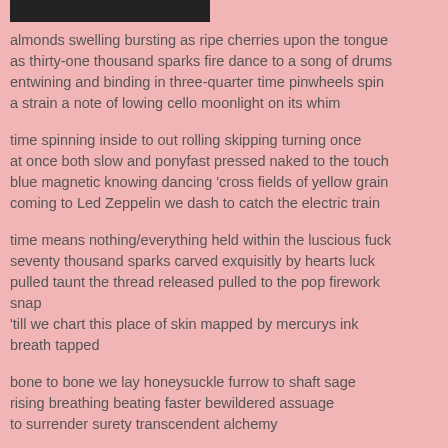[Figure (other): A dark/black rectangular image or banner at the top of the page]
almonds swelling bursting as ripe cherries upon the tongue
as thirty-one thousand sparks fire dance to a song of drums
entwining and binding in three-quarter time pinwheels spin
a strain a note of lowing cello moonlight on its whim
time spinning inside to out rolling skipping turning once
at once both slow and ponyfast pressed naked to the touch
blue magnetic knowing dancing 'cross fields of yellow grain
coming to Led Zeppelin we dash to catch the electric train
time means nothing/everything held within the luscious fuck
seventy thousand sparks carved exquisitly by hearts luck
pulled taunt the thread released pulled to the pop firework snap
'till we chart this place of skin mapped by mercurys ink breath tapped
bone to bone we lay honeysuckle furrow to shaft sage
rising breathing beating faster bewildered assuage
to surrender surety transcendent alchemy